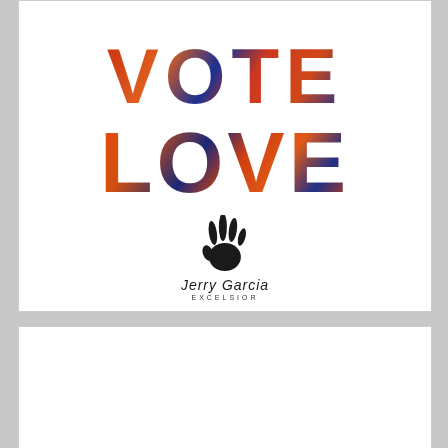[Figure (illustration): Vote Love artwork with large colorful text 'VOTE' and 'LOVE' filled with vibrant photo collage effect in reds, oranges, and blues on white background, with Jerry Garcia hand logo and signature below]
[Figure (screenshot): Google Maps or similar app UI showing Topgolf listing with green checkmark Dine-in, red X Delivery, navigation arrow button, and ad icons]